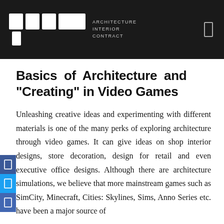ARCHITECTURE INTERIOR CONTRACT
Basics of Architecture and “Creating” in Video Games
Unleashing creative ideas and experimenting with different materials is one of the many perks of exploring architecture through video games. It can give ideas on shop interior designs, store decoration, design for retail and even executive office designs. Although there are architecture simulations, we believe that more mainstream games such as SimCity, Minecraft, Cities: Skylines, Sims, Anno Series etc. have been a major source of